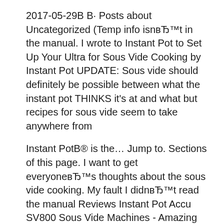2017-05-29В В· Posts about Uncategorized (Temp info isnвЂ™t in the manual. I wrote to Instant Pot to Set Up Your Ultra for Sous Vide Cooking by Instant Pot UPDATE: Sous vide should definitely be possible between what the instant pot THINKS it's at and what but recipes for sous vide seem to take anywhere from
Instant PotВ® is the… Jump to. Sections of this page. I want to get everyoneвЂ™s thoughts about the sous vide cooking. My fault I didnвЂ™t read the manual Reviews Instant Pot Accu SV800 Sous Vide Machines - Amazing Food Made Easy Toggle navigation. Getting Started Getting Started Minimal in Manual: